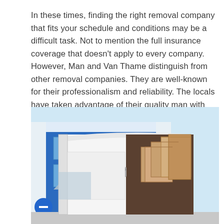In these times, finding the right removal company that fits your schedule and conditions may be a difficult task. Not to mention the full insurance coverage that doesn't apply to every company. However, Man and Van Thame distinguish from other removal companies. They are well-known for their professionalism and reliability. The locals have taken advantage of their quality man with van services during the years.
[Figure (photo): Photograph of a white moving van with its rear doors open, revealing stacked cardboard boxes inside. The van is parked in front of a blue and white commercial building.]